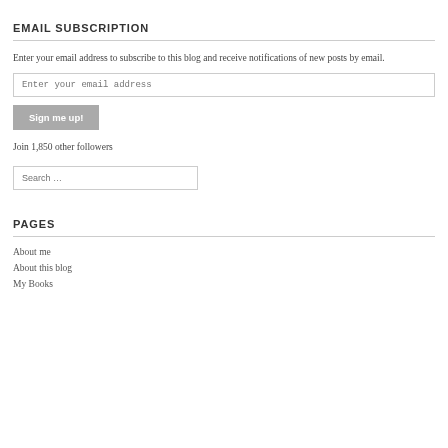EMAIL SUBSCRIPTION
Enter your email address to subscribe to this blog and receive notifications of new posts by email.
Enter your email address
Sign me up!
Join 1,850 other followers
Search …
PAGES
About me
About this blog
My Books